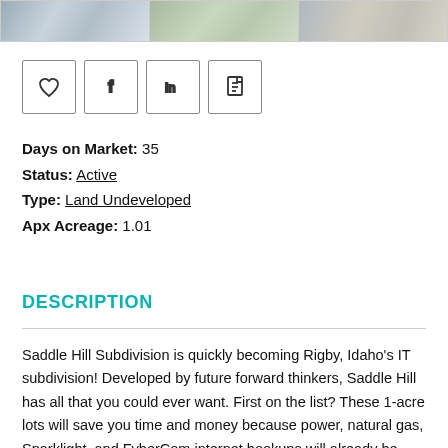[Figure (photo): Three aerial/satellite photos of a land subdivision shown in a strip at the top of the page]
[Figure (infographic): Row of four icon buttons: heart (favorite), Facebook (f), LinkedIn (in), and PDF/document icon]
Days on Market: 35
Status: Active
Type: Land Undeveloped
Apx Acreage: 1.01
DESCRIPTION
Saddle Hill Subdivision is quickly becoming Rigby, Idaho's IT subdivision! Developed by future forward thinkers, Saddle Hill has all that you could ever want. First on the list? These 1-acre lots will save you time and money because power, natural gas, Sparklight, and FyberCom internet hookups will already be installed (saving yourself from a whole lot of headaches). Saddle Hill will provide a diverse offering of leisure activities